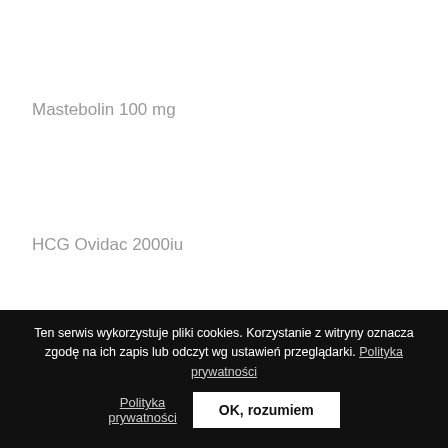Mastebolin 100 mg
HCG Ovidac 2000iu
Anabolic steroids can cause
Ten serwis wykorzystuje pliki cookies. Korzystanie z witryny oznacza zgodę na ich zapis lub odczyt wg ustawień przeglądarki. Polityka prywatności
OK, rozumiem